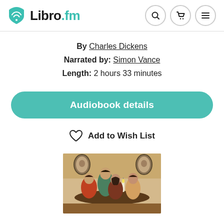Libro.fm
By Charles Dickens
Narrated by: Simon Vance
Length: 2 hours 33 minutes
Audiobook details
Add to Wish List
[Figure (illustration): Vintage illustration showing several women gathered around a table, with framed portraits on the wall behind them and a candle on the table.]